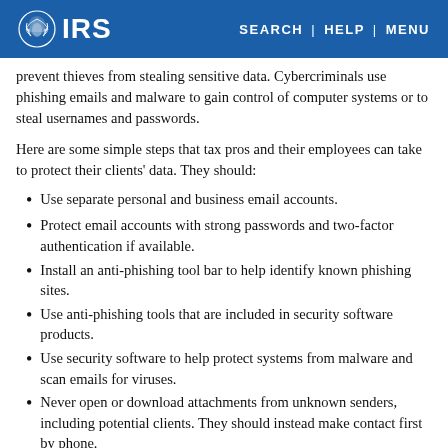IRS | SEARCH | HELP | MENU
prevent thieves from stealing sensitive data. Cybercriminals use phishing emails and malware to gain control of computer systems or to steal usernames and passwords.
Here are some simple steps that tax pros and their employees can take to protect their clients' data. They should:
Use separate personal and business email accounts.
Protect email accounts with strong passwords and two-factor authentication if available.
Install an anti-phishing tool bar to help identify known phishing sites.
Use anti-phishing tools that are included in security software products.
Use security software to help protect systems from malware and scan emails for viruses.
Never open or download attachments from unknown senders, including potential clients. They should instead make contact first by phone.
Send only password-protected and encrypted documents